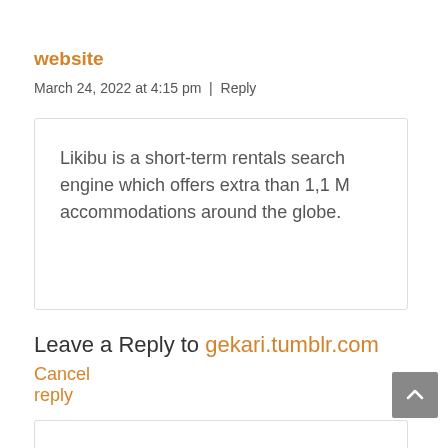website
March 24, 2022 at 4:15 pm  |  Reply
Likibu is a short-term rentals search engine which offers extra than 1,1 M accommodations around the globe.
Leave a Reply to gekari.tumblr.com Cancel reply